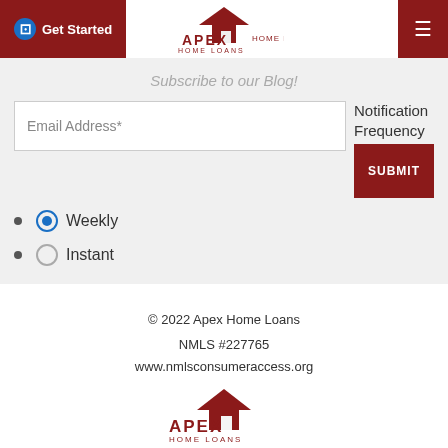[Figure (logo): Apex Home Loans logo with house/roof icon in dark red, text APEX HOME LOANS]
Subscribe to our Blog!
Email Address*
Notification Frequency
Weekly (selected)
Instant
© 2022 Apex Home Loans NMLS #227765 www.nmlsconsumeraccess.org
[Figure (logo): Apex Home Loans logo repeated in footer]
[Figure (logo): Apex Home Loans logo partial at bottom]